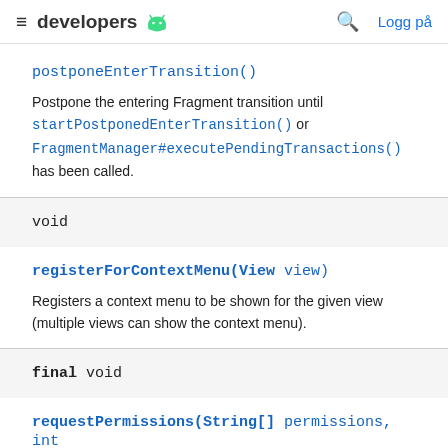≡ developers 🤖  🔍  Logg på
postponeEnterTransition()
Postpone the entering Fragment transition until startPostponedEnterTransition() or FragmentManager#executePendingTransactions() has been called.
void
registerForContextMenu(View view)
Registers a context menu to be shown for the given view (multiple views can show the context menu).
final void
requestPermissions(String[] permissions, int